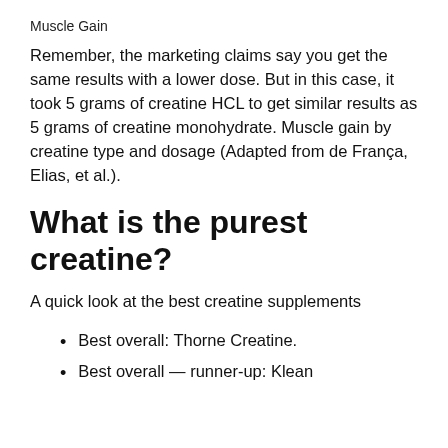Muscle Gain
Remember, the marketing claims say you get the same results with a lower dose. But in this case, it took 5 grams of creatine HCL to get similar results as 5 grams of creatine monohydrate. Muscle gain by creatine type and dosage (Adapted from de França, Elias, et al.).
What is the purest creatine?
A quick look at the best creatine supplements
Best overall: Thorne Creatine.
Best overall — runner-up: Klean